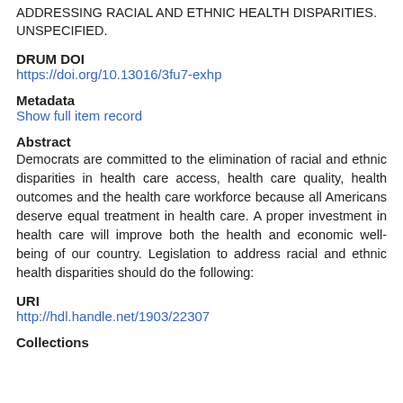ADDRESSING RACIAL AND ETHNIC HEALTH DISPARITIES. UNSPECIFIED.
DRUM DOI
https://doi.org/10.13016/3fu7-exhp
Metadata
Show full item record
Abstract
Democrats are committed to the elimination of racial and ethnic disparities in health care access, health care quality, health outcomes and the health care workforce because all Americans deserve equal treatment in health care. A proper investment in health care will improve both the health and economic well-being of our country. Legislation to address racial and ethnic health disparities should do the following:
URI
http://hdl.handle.net/1903/22307
Collections